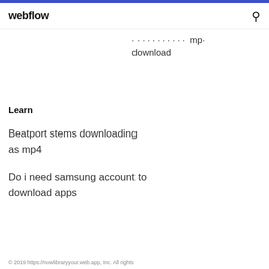webflow
…xxxxxxxx mp… download
Learn
Beatport stems downloading as mp4
Do i need samsung account to download apps
© 2019 https://nowlibraryyour.web.app, Inc. All rights…